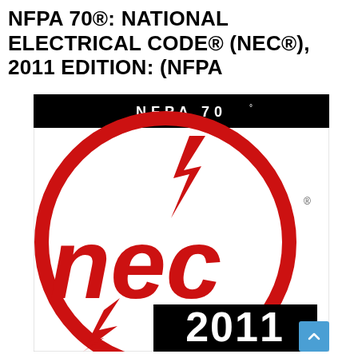NFPA 70®: NATIONAL ELECTRICAL CODE® (NEC®), 2011 EDITION: (NFPA
[Figure (logo): NFPA 70 NEC 2011 Edition book cover showing the NEC logo — a red circle with lightning bolt symbols and the text 'nec' in large red lowercase letters, with a black banner at the top reading 'NFPA 70°' and a black box at the bottom showing '2011' in large white bold text.]